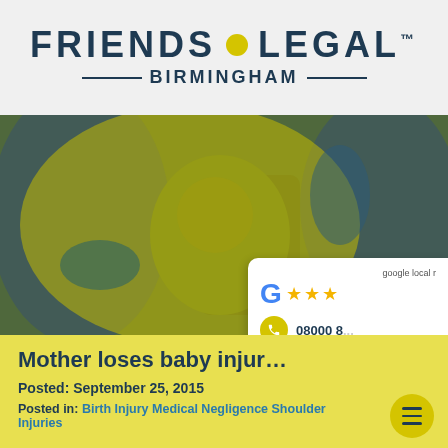[Figure (logo): Friends Legal Birmingham logo with yellow dot between FRIENDS and LEGAL, trademark symbol, and BIRMINGHAM text below with decorative rules]
[Figure (photo): Medical/birth scene with yellow tint overlay showing a newborn baby being handled by medical staff]
Mother loses baby injur…
Posted: September 25, 2015
Posted in: Birth Injury Medical Negligence Shoulder Injuries
[Figure (other): Google local rating widget showing G logo with 3 stars, phone number 08000 8... and Start Yo... link]
[Figure (other): Yellow circular hamburger menu button]